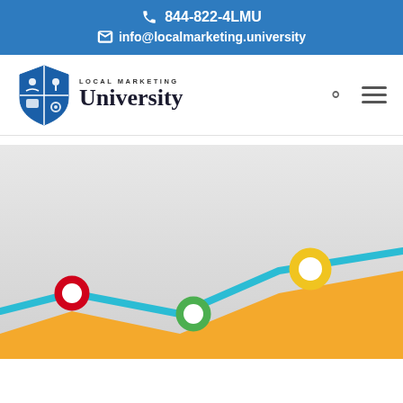844-822-4LMU | info@localmarketing.university
[Figure (logo): Local Marketing University logo with shield icon]
[Figure (infographic): Line chart infographic with orange area, teal line, and colored circle markers (red, green, yellow)]